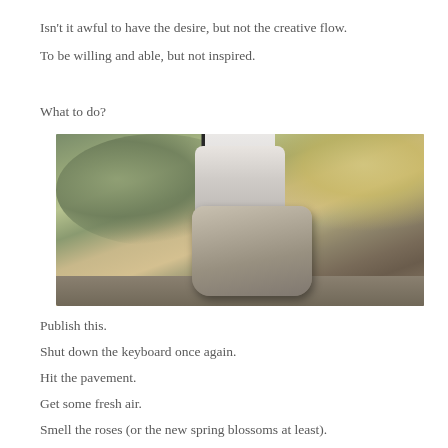Isn't it awful to have the desire, but not the creative flow.
To be willing and able, but not inspired.
What to do?
[Figure (photo): Close-up photo of a person's feet/shoes walking on a path or road, shot from a low angle showing the sole of a sneaker. The background is blurred green foliage and warm light.]
Publish this.
Shut down the keyboard once again.
Hit the pavement.
Get some fresh air.
Smell the roses (or the new spring blossoms at least).